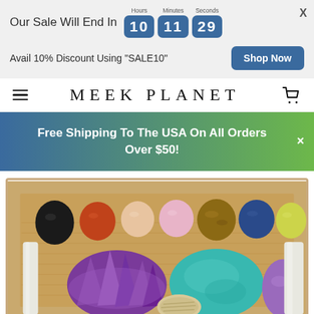Our Sale Will End In  10  11  29  Hours Minutes Seconds
Avail 10% Discount Using "SALE10"
Shop Now
MEEK PLANET
Free Shipping To The USA On All Orders Over $50!
[Figure (photo): A wooden box tray filled with various colorful tumbled and raw crystals/gemstones including black obsidian, red jasper, peach moonstone, pink rose quartz, tiger eye, blue sodalite, yellow citrine, white selenite wand, purple amethyst cluster, teal amazonite, and a wrapped cord, all nestled in straw/paper shreds.]